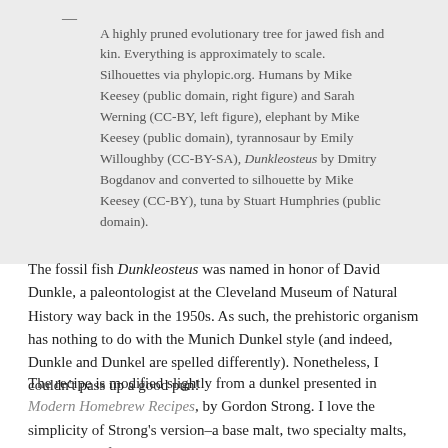— A highly pruned evolutionary tree for jawed fish and kin. Everything is approximately to scale. Silhouettes via phylopic.org. Humans by Mike Keesey (public domain, right figure) and Sarah Werning (CC-BY, left figure), elephant by Mike Keesey (public domain), tyrannosaur by Emily Willoughby (CC-BY-SA), Dunkleosteus by Dmitry Bogdanov and converted to silhouette by Mike Keesey (CC-BY), tuna by Stuart Humphries (public domain).
The fossil fish Dunkleosteus was named in honor of David Dunkle, a paleontologist at the Cleveland Museum of Natural History way back in the 1950s. As such, the prehistoric organism has nothing to do with the Munich Dunkel style (and indeed, Dunkle and Dunkel are spelled differently). Nonetheless, I couldn't pass up a good pun!
The recipe is modified slightly from a dunkel presented in Modern Homebrew Recipes, by Gordon Strong. I love the simplicity of Strong's version–a base malt, two specialty malts, one variety of hops, and a yeast. I elected